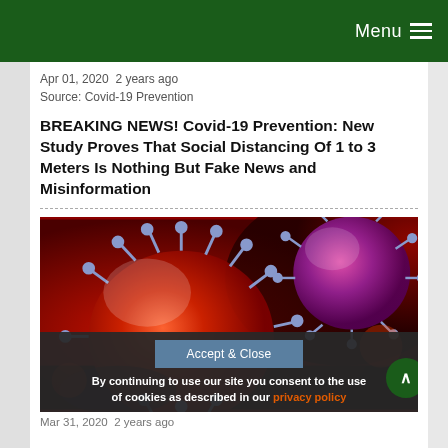Menu
Apr 01, 2020  2 years ago
Source: Covid-19 Prevention
BREAKING NEWS! Covid-19 Prevention: New Study Proves That Social Distancing Of 1 to 3 Meters Is Nothing But Fake News and Misinformation
[Figure (photo): Close-up illustration of coronavirus (SARS-CoV-2) particles with spike proteins on a dark red background]
Accept & Close
By continuing to use our site you consent to the use of cookies as described in our privacy policy
Mar 31, 2020  2 years ago